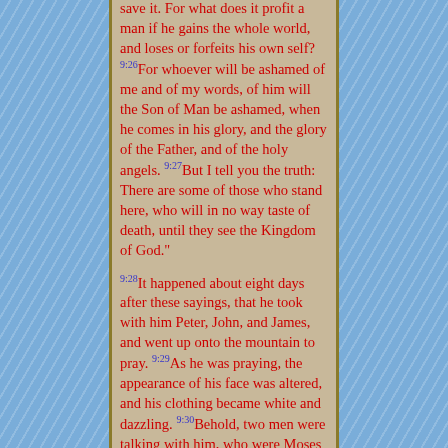save it. For what does it profit a man if he gains the whole world, and loses or forfeits his own self? 9:26For whoever will be ashamed of me and of my words, of him will the Son of Man be ashamed, when he comes in his glory, and the glory of the Father, and of the holy angels. 9:27But I tell you the truth: There are some of those who stand here, who will in no way taste of death, until they see the Kingdom of God."
9:28It happened about eight days after these sayings, that he took with him Peter, John, and James, and went up onto the mountain to pray. 9:29As he was praying, the appearance of his face was altered, and his clothing became white and dazzling. 9:30Behold, two men were talking with him, who were Moses and Elijah, 9:31who appeared in glory, and spoke of his departure, which he was about